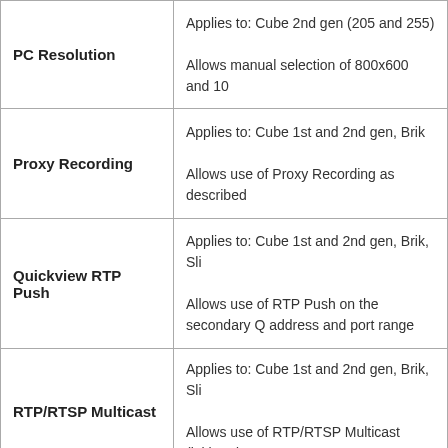| Feature | Description |
| --- | --- |
| PC Resolution | Applies to: Cube 2nd gen (205 and 255)

Allows manual selection of 800x600 and 10... |
| Proxy Recording | Applies to: Cube 1st and 2nd gen, Brik

Allows use of Proxy Recording as described... |
| Quickview RTP Push | Applies to: Cube 1st and 2nd gen, Brik, Sli...

Allows use of RTP Push on the secondary Q... address and port range |
| RTP/RTSP Multicast | Applies to: Cube 1st and 2nd gen, Brik, Sli...

Allows use of RTP/RTSP Multicast (initiated... stream |